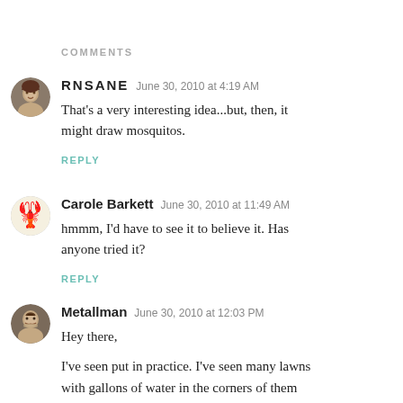COMMENTS
RNSANE  June 30, 2010 at 4:19 AM
That's a very interesting idea...but, then, it might draw mosquitos.
REPLY
Carole Barkett  June 30, 2010 at 11:49 AM
hmmm, I'd have to see it to believe it. Has anyone tried it?
REPLY
Metallman  June 30, 2010 at 12:03 PM
Hey there,
I've seen put in practice. I've seen many lawns with gallons of water in the corners of them and always wondered why they were there. It